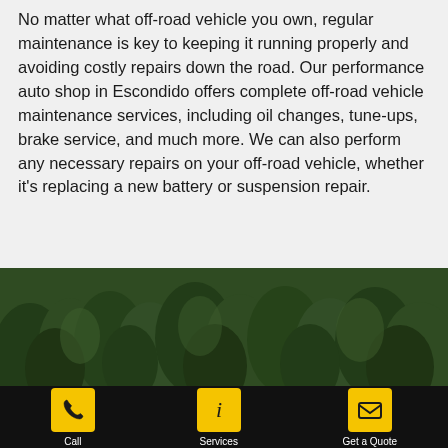No matter what off-road vehicle you own, regular maintenance is key to keeping it running properly and avoiding costly repairs down the road. Our performance auto shop in Escondido offers complete off-road vehicle maintenance services, including oil changes, tune-ups, brake service, and much more. We can also perform any necessary repairs on your off-road vehicle, whether it's replacing a new battery or suspension repair.
[Figure (photo): Aerial view of dense green forest treetops]
Call | Services | Get a Quote